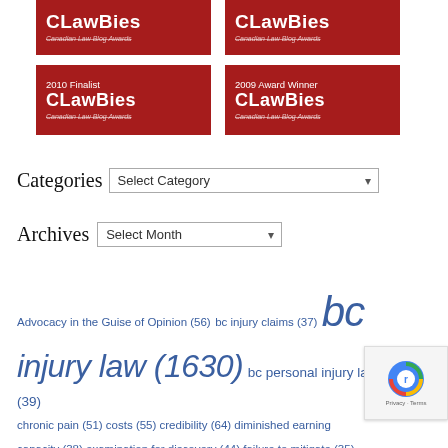[Figure (logo): CLawBies Canadian Law Blog Awards badge - top row, two badges (2011 Finalist and another award)]
[Figure (logo): CLawBies Canadian Law Blog Awards badge - second row: 2010 Finalist and 2009 Award Winner]
Categories  Select Category
Archives  Select Month
Advocacy in the Guise of Opinion (56) bc injury claims (37) bc injury law (1630) bc personal injury lawyer (39) chronic pain (51) costs (55) credibility (64) diminished earning capacity (38) examination for discovery (44) failure to mitigate (35) (51) formal settlement offers (48) free consultation (38) icbc (41) ICBC